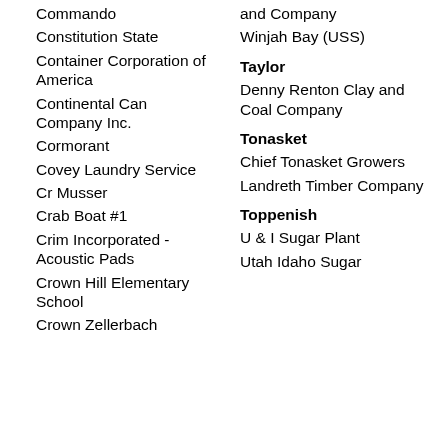Commando
Constitution State
Container Corporation of America
Continental Can Company Inc.
Cormorant
Covey Laundry Service
Cr Musser
Crab Boat #1
Crim Incorporated - Acoustic Pads
Crown Hill Elementary School
Crown Zellerbach Corporation
and Company
Winjah Bay (USS)
Taylor
Denny Renton Clay and Coal Company
Tonasket
Chief Tonasket Growers
Landreth Timber Company
Toppenish
U & I Sugar Plant
Utah Idaho Sugar